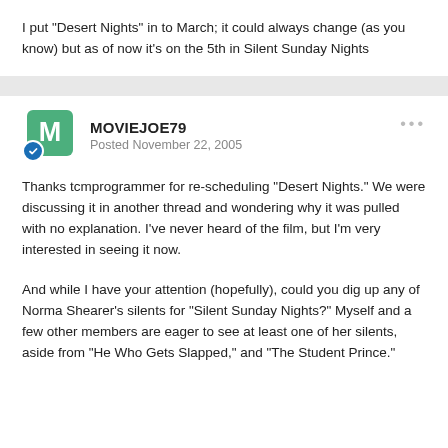I put "Desert Nights" in to March; it could always change (as you know) but as of now it's on the 5th in Silent Sunday Nights
MOVIEJOE79
Posted November 22, 2005
Thanks tcmprogrammer for re-scheduling "Desert Nights." We were discussing it in another thread and wondering why it was pulled with no explanation. I've never heard of the film, but I'm very interested in seeing it now.
And while I have your attention (hopefully), could you dig up any of Norma Shearer's silents for "Silent Sunday Nights?" Myself and a few other members are eager to see at least one of her silents, aside from "He Who Gets Slapped," and "The Student Prince."